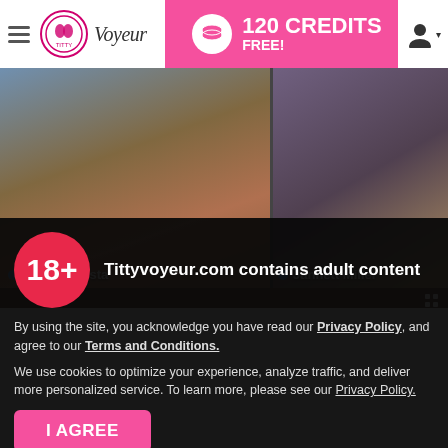TittyVoyeur — 120 CREDITS FREE!
[Figure (screenshot): Two webcam model thumbnails: left shows Pamela Costa (woman in floral dress seated), right shows Jannett Miller (woman in dark clothing near stuffed animal). Both have blue online indicator dots.]
Pamela Costa
Jannett Miller
Tittyvoyeur.com contains adult content
By using the site, you acknowledge you have read our Privacy Policy, and agree to our Terms and Conditions.
We use cookies to optimize your experience, analyze traffic, and deliver more personalized service. To learn more, please see our Privacy Policy.
I AGREE